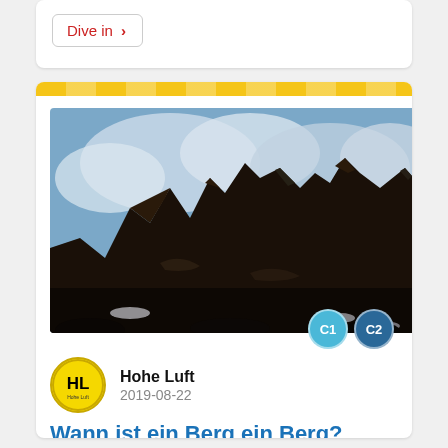Dive in >
[Figure (photo): Photograph of jagged dark mountain peaks against a partly cloudy sky, with snow patches visible at the base.]
C1 C2
Hohe Luft
2019-08-22
Wann ist ein Berg ein Berg?
Man kann nicht jede kleine Erhebung als Gipfel